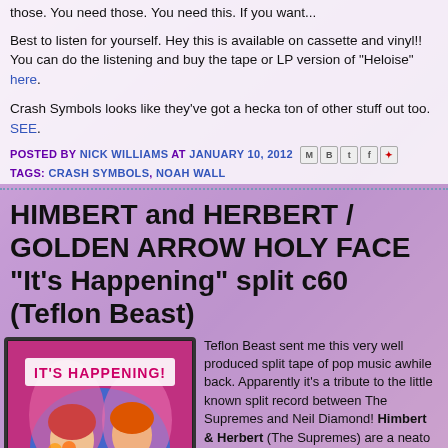those. You need those. You need this. If you want...
Best to listen for yourself. Hey this is available on cassette and vinyl!! You can do the listening and buy the tape or LP version of "Heloise" here.
Crash Symbols looks like they've got a hecka ton of other stuff out too. SEE.
POSTED BY NICK WILLIAMS AT JANUARY 10, 2012
TAGS: CRASH SYMBOLS, NOAH WALL
HIMBERT and HERBERT / GOLDEN ARROW HOLY FACE "It's Happening" split c60 (Teflon Beast)
[Figure (photo): Cassette tape cover art showing 'IT'S HAPPENING!' text with colorful retro illustration of women with flowers on pink/blue background]
Teflon Beast sent me this very well produced split tape of pop music awhile back. Apparently it's a tribute to the little known split record between The Supremes and Neil Diamond! Himbert & Herbert (The Supremes) are a neato mix of 60s girl group vocals, and 80s dance music. I had a great time